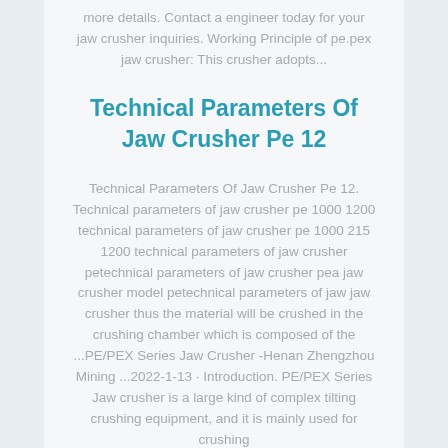more details. Contact a engineer today for your jaw crusher inquiries. Working Principle of pe.pex jaw crusher: This crusher adopts...
Technical Parameters Of Jaw Crusher Pe 12
Technical Parameters Of Jaw Crusher Pe 12. Technical parameters of jaw crusher pe 1000 1200 technical parameters of jaw crusher pe 1000 215 1200 technical parameters of jaw crusher petechnical parameters of jaw crusher pea jaw crusher model petechnical parameters of jaw jaw crusher thus the material will be crushed in the crushing chamber which is composed of the ...PE/PEX Series Jaw Crusher -Henan Zhengzhou Mining ...2022-1-13  · Introduction. PE/PEX Series Jaw crusher is a large kind of complex tilting crushing equipment, and it is mainly used for crushing